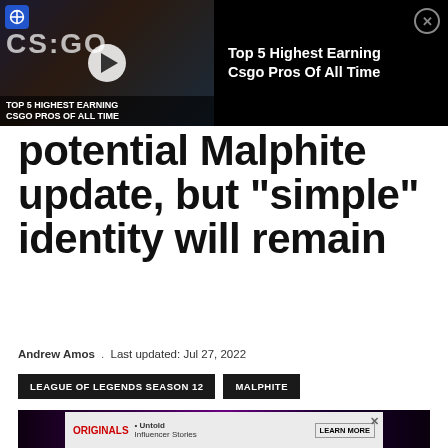[Figure (screenshot): Video ad thumbnail for 'Top 5 Highest Earning CSGO Pros Of All Time' with play button overlay and CSGO branding, black background, text title on right side with close button]
potential Malphite update, but “simple” identity will remain
Andrew Amos . Last updated: Jul 27, 2022
LEAGUE OF LEGENDS SEASON 12
MALPHITE
[Figure (photo): Game artwork showing Malphite character with dark purple/pink lighting effects]